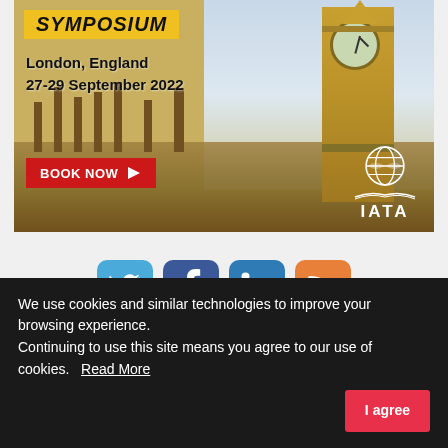[Figure (illustration): IATA Symposium banner advertisement. Yellow 'SYMPOSIUM' badge top left, text 'London, England 27-29 September 2022', red 'BOOK NOW' button with arrow, Big Ben clock tower in background, IATA globe logo bottom right.]
[Figure (infographic): Row of four social media icons: Twitter (blue bird), Facebook (blue f), LinkedIn (blue in), RSS (orange wifi-like symbol).]
Trending News
We use cookies and similar technologies to improve your browsing experience.
Continuing to use this site means you agree to our use of cookies.   Read More
I agree